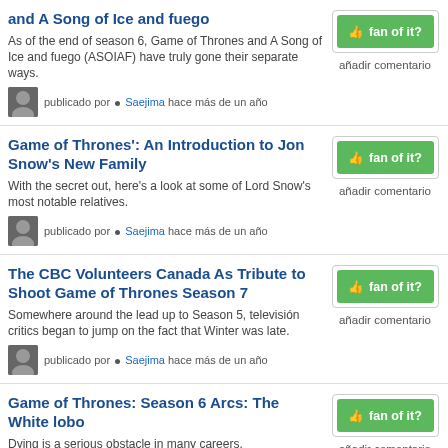and A Song of Ice and fuego
As of the end of season 6, Game of Thrones and A Song of Ice and fuego (ASOIAF) have truly gone their separate ways.
publicado por • Saejima hace más de un año
Game of Thrones': An Introduction to Jon Snow's New Family
With the secret out, here's a look at some of Lord Snow's most notable relatives.
publicado por • Saejima hace más de un año
The CBC Volunteers Canada As Tribute to Shoot Game of Thrones Season 7
Somewhere around the lead up to Season 5, televisión critics began to jump on the fact that Winter was late.
publicado por • Saejima hace más de un año
Game of Thrones: Season 6 Arcs: The White lobo
Dying is a serious obstacle in many careers.
publicado por • Saejima hace más de un año